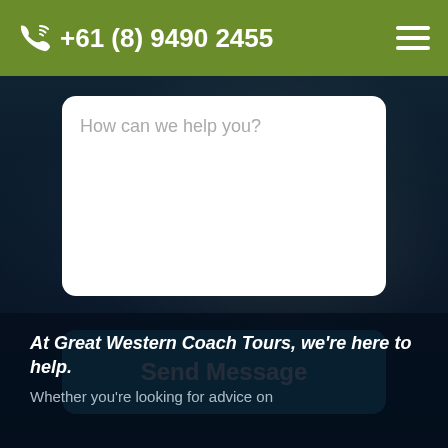+61 (8) 9490 2455
How can we help you?
Send Message
At Great Western Coach Tours, we're here to help.
Whether you're looking for advice on